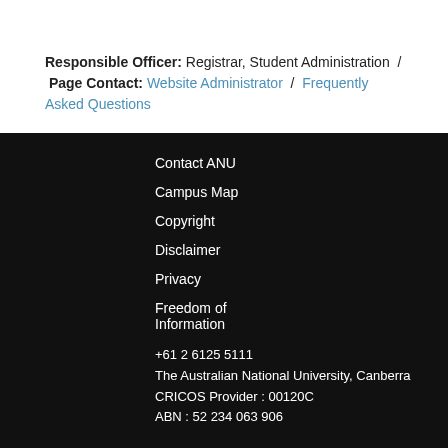Responsible Officer: Registrar, Student Administration / Page Contact: Website Administrator / Frequently Asked Questions
Contact ANU
Campus Map
Copyright
Disclaimer
Privacy
Freedom of Information
+61 2 6125 5111
The Australian National University, Canberra
CRICOS Provider : 00120C
ABN : 52 234 063 906
[Figure (logo): Group of Eight Australia Member logo — geometric diamond/polygon shape in white outline on black background, with 'GROUP OF EIGHT AUSTRALIA' text and 'MEMBER' beneath a horizontal rule]